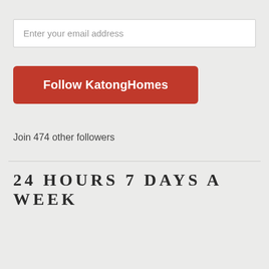Enter your email address
Follow KatongHomes
Join 474 other followers
24 HOURS 7 DAYS A WEEK